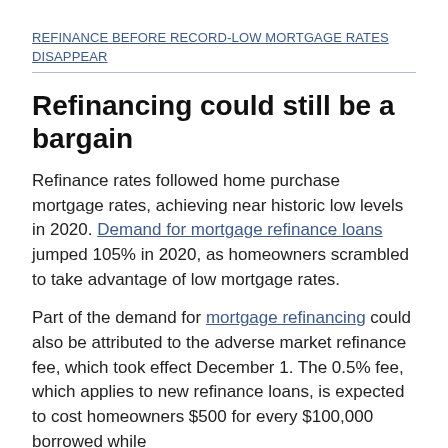REFINANCE BEFORE RECORD-LOW MORTGAGE RATES DISAPPEAR
Refinancing could still be a bargain
Refinance rates followed home purchase mortgage rates, achieving near historic low levels in 2020. Demand for mortgage refinance loans jumped 105% in 2020, as homeowners scrambled to take advantage of low mortgage rates.
Part of the demand for mortgage refinancing could also be attributed to the adverse market refinance fee, which took effect December 1. The 0.5% fee, which applies to new refinance loans, is expected to cost homeowners $500 for every $100,000 borrowed while